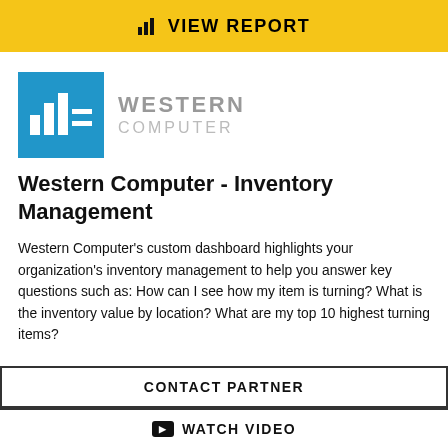VIEW REPORT
[Figure (logo): Western Computer logo: blue square with white bar chart and lines icon, with WESTERN COMPUTER text to the right]
Western Computer - Inventory Management
Western Computer's custom dashboard highlights your organization's inventory management to help you answer key questions such as: How can I see how my item is turning? What is the inventory value by location? What are my top 10 highest turning items?
CONTACT PARTNER
WATCH VIDEO